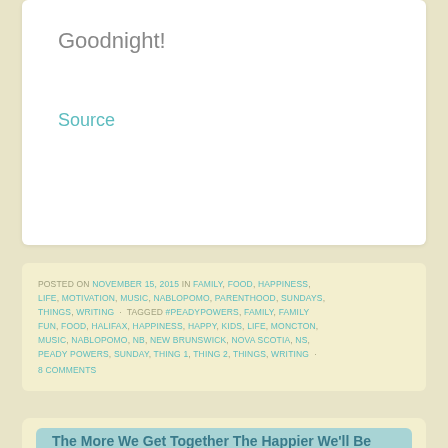Goodnight!
Source
POSTED ON NOVEMBER 15, 2015 IN FAMILY, FOOD, HAPPINESS, LIFE, MOTIVATION, MUSIC, NABLOPOMO, PARENTHOOD, SUNDAYS, THINGS, WRITING · TAGGED #PEADYPOWERS, FAMILY, FAMILY FUN, FOOD, HALIFAX, HAPPINESS, HAPPY, KIDS, LIFE, MONCTON, MUSIC, NABLOPOMO, NB, NEW BRUNSWICK, NOVA SCOTIA, NS, PEADY POWERS, SUNDAY, THING 1, THING 2, THINGS, WRITING · 8 COMMENTS
The More We Get Together The Happier We'll Be